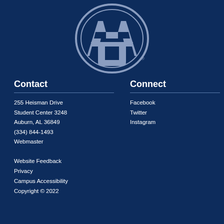[Figure (logo): Auburn University AU logo in silver/grey on dark navy background]
Contact
255 Heisman Drive
Student Center 3248
Auburn, AL 36849
(334) 844-1493
Webmaster
Connect
Facebook
Twitter
Instagram
Website Feedback
Privacy
Campus Accessibility
Copyright © 2022